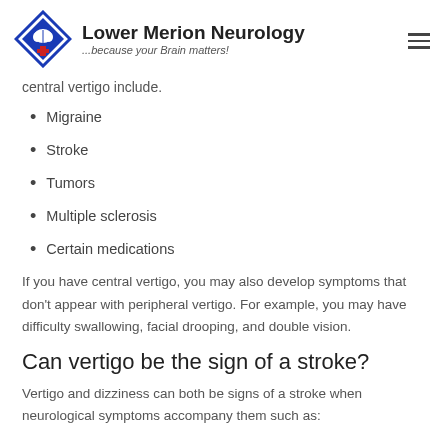Lower Merion Neurology ...because your Brain matters!
central vertigo include.
Migraine
Stroke
Tumors
Multiple sclerosis
Certain medications
If you have central vertigo, you may also develop symptoms that don't appear with peripheral vertigo. For example, you may have difficulty swallowing, facial drooping, and double vision.
Can vertigo be the sign of a stroke?
Vertigo and dizziness can both be signs of a stroke when neurological symptoms accompany them such as: